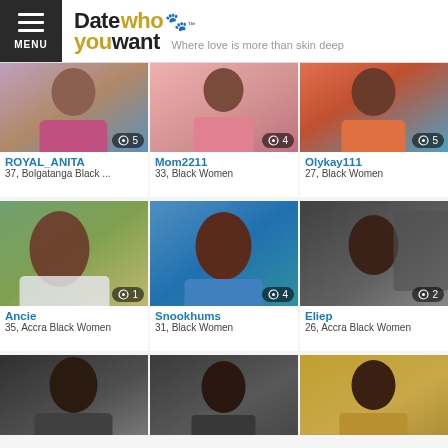Datewhoyouwant — Where love is more than skin deep
[Figure (photo): Profile photo of ROYAL_ANITA with photo count badge showing 5]
ROYAL_ANITA
37, Bolgatanga Black ...
[Figure (photo): Profile photo of Mom2211 with photo count badge showing 4]
Mom2211
33, Black Women
[Figure (photo): Profile photo of Olykay111 with photo count badge showing 5]
Olykay111
27, Black Women
[Figure (photo): Profile photo of Ancie with photo count badge showing 1]
Ancie
35, Accra Black Women
[Figure (photo): Profile photo of Snookhums with photo count badge showing 4]
Snookhums
31, Black Women
[Figure (photo): Profile photo of Eliep with photo count badge showing 2]
Eliep
26, Accra Black Women
[Figure (photo): Partial profile photo row 3 left]
[Figure (photo): Partial profile photo row 3 middle]
[Figure (photo): Partial profile photo row 3 right]